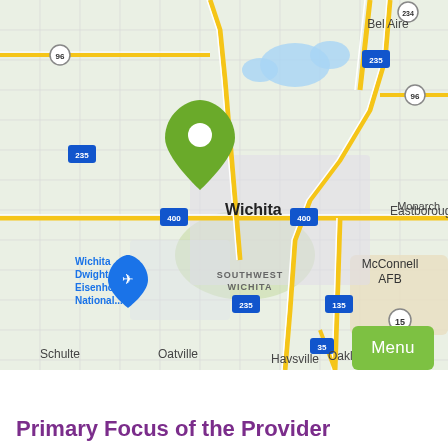[Figure (map): Google Maps screenshot showing Wichita, Kansas area. A green location pin is placed over central Wichita. Notable labels include Bel Aire (northeast), Eastborough (east), McConnell AFB (southeast), Southwest Wichita (south-center), Oaklawn-Sunview (south), Havsville (south), Schulte (southwest), Oatville (south-southwest), and Wichita Dwight D. Eisenhower National airport (west). Highway labels include I-235, I-400, I-135, I-35, US-96, US-15, and KS-234. A blue airplane icon marks the airport location.]
Menu
Primary Focus of the Provider